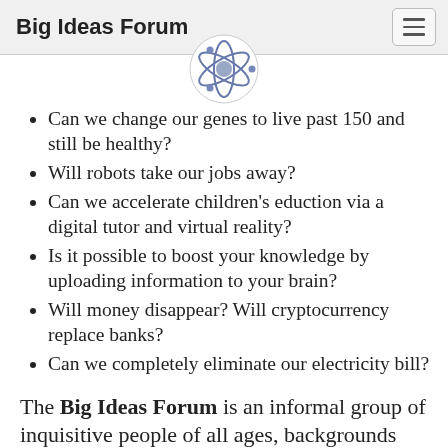Big Ideas Forum
[Figure (illustration): Atom/science icon – circular logo with orbiting electron rings around a central sphere]
Can we change our genes to live past 150 and still be healthy?
Will robots take our jobs away?
Can we accelerate children's eduction via a digital tutor and virtual reality?
Is it possible to boost your knowledge by uploading information to your brain?
Will money disappear? Will cryptocurrency replace banks?
Can we completely eliminate our electricity bill?
The Big Ideas Forum is an informal group of inquisitive people of all ages, backgrounds and experiences who wants to explore, understand…